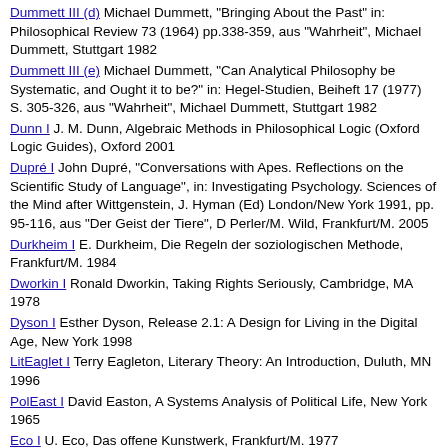Dummett III (d) Michael Dummett, "Bringing About the Past" in: Philosophical Review 73 (1964) pp.338-359, aus "Wahrheit", Michael Dummett, Stuttgart 1982
Dummett III (e) Michael Dummett, "Can Analytical Philosophy be Systematic, and Ought it to be?" in: Hegel-Studien, Beiheft 17 (1977) S. 305-326, aus "Wahrheit", Michael Dummett, Stuttgart 1982
Dunn I J. M. Dunn, Algebraic Methods in Philosophical Logic (Oxford Logic Guides), Oxford 2001
Dupré I John Dupré, "Conversations with Apes. Reflections on the Scientific Study of Language", in: Investigating Psychology. Sciences of the Mind after Wittgenstein, J. Hyman (Ed) London/New York 1991, pp. 95-116, aus "Der Geist der Tiere", D Perler/M. Wild, Frankfurt/M. 2005
Durkheim I E. Durkheim, Die Regeln der soziologischen Methode, Frankfurt/M. 1984
Dworkin I Ronald Dworkin, Taking Rights Seriously, Cambridge, MA 1978
Dyson I Esther Dyson, Release 2.1: A Design for Living in the Digital Age, New York 1998
LitEaglet I Terry Eagleton, Literary Theory: An Introduction, Duluth, MN 1996
PolEast I David Easton, A Systems Analysis of Political Life, New York 1965
Eco I U. Eco, Das offene Kunstwerk, Frankfurt/M. 1977
Eco II U, Eco, Einführung in die Semiotik, München 1972
Edgerton I David Edgerton, The Shock of the Old: Technology and Global History since 1900, London 2011
EconEdge Francis Ysidro Edgeworth, Mathematical Psychics: An Essay on the Application of Mathematics to the Moral Sciences, London 1881
Edwards I Paul N. Edwards, A Vast Machine: Computer Models, Climate Data, and the Politics of Global Warming, Cambridge 2013
Eibl I Irenäus Eibl-Eibesfeldt, Die Biologie des menschlichen Verhaltens: Grundriss der Humanethologie, 2004
EconFich I Barry J. Eichengreen, Marc Flandreau, The gold standard in